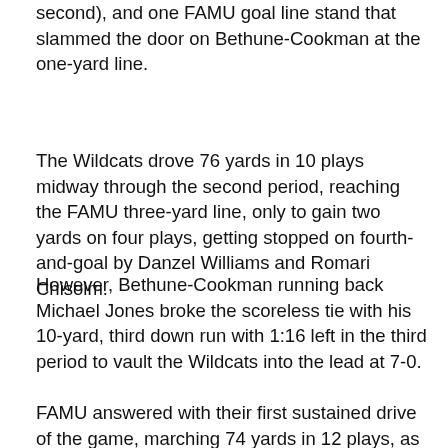second), and one FAMU goal line stand that slammed the door on Bethune-Cookman at the one-yard line.
The Wildcats drove 76 yards in 10 plays midway through the second period, reaching the FAMU three-yard line, only to gain two yards on four plays, getting stopped on fourth-and-goal by Danzel Williams and Romari Chisolm.
However, Bethune-Cookman running back Michael Jones broke the scoreless tie with his 10-yard, third down run with 1:16 left in the third period to vault the Wildcats into the lead at 7-0.
FAMU answered with their first sustained drive of the game, marching 74 yards in 12 plays, as